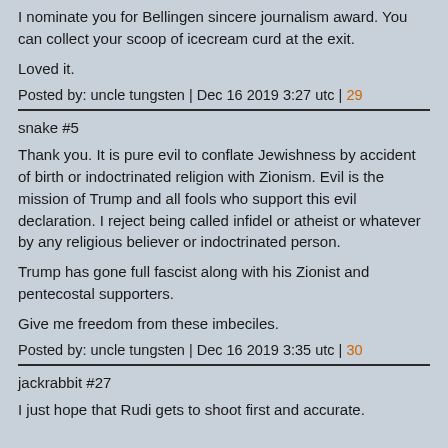I nominate you for Bellingen sincere journalism award. You can collect your scoop of icecream curd at the exit.
Loved it.
Posted by: uncle tungsten | Dec 16 2019 3:27 utc | 29
snake #5
Thank you. It is pure evil to conflate Jewishness by accident of birth or indoctrinated religion with Zionism. Evil is the mission of Trump and all fools who support this evil declaration. I reject being called infidel or atheist or whatever by any religious believer or indoctrinated person.
Trump has gone full fascist along with his Zionist and pentecostal supporters.
Give me freedom from these imbeciles.
Posted by: uncle tungsten | Dec 16 2019 3:35 utc | 30
jackrabbit #27
I just hope that Rudi gets to shoot first and accurate.